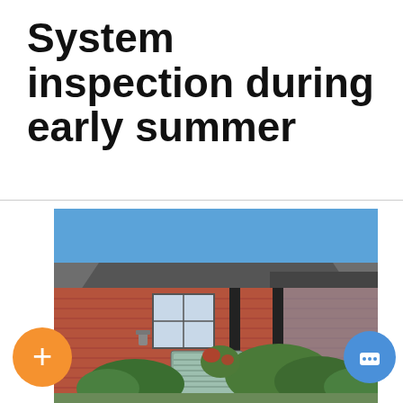System inspection during early summer
[Figure (photo): Outdoor HVAC air conditioning unit beside a red brick house with shrubs and a gray roof, on a sunny day]